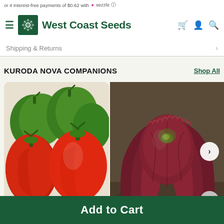or 4 interest-free payments of $0.62 with 🔶 sezzle ℹ️
[Figure (logo): West Coast Seeds logo with sunflower icon and brand name]
Shipping & Returns
KURODA NOVA COMPANIONS
Shop All
[Figure (photo): Photo of red and green bell peppers]
[Figure (photo): Photo of red/purple loose-leaf lettuce growing in garden]
Add to Cart